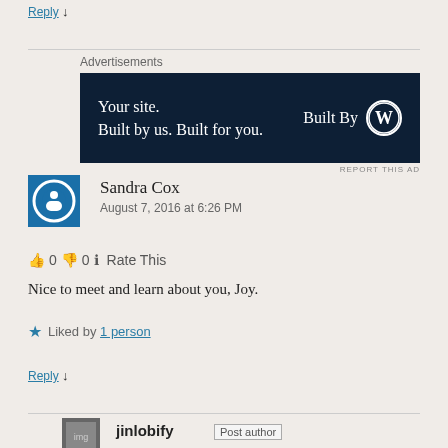Reply ↓
[Figure (other): WordPress advertisement banner: 'Your site. Built by us. Built for you.' with Built By WordPress logo on dark navy background]
REPORT THIS AD
Sandra Cox
August 7, 2016 at 6:26 PM
👍 0 👎 0 ℹ Rate This
Nice to meet and learn about you, Joy.
★ Liked by 1 person
Reply ↓
jinlobify  Post author